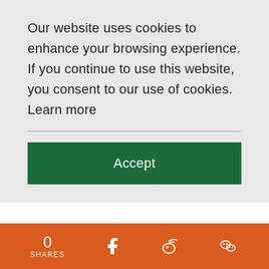Our website uses cookies to enhance your browsing experience. If you continue to use this website, you consent to our use of cookies. Learn more
Accept
Source: Home Affairs Department, Art Promotion Office
0 SHARES